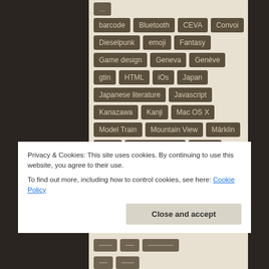[Figure (screenshot): A tag cloud / list of category tags on a beige background. Tags shown include: barcode, Bluetooth, CEVA, Convoi, Dieselpunk, emoji, Fantasy, Game design, Geneva, Genève, gtin, HTML, iOs, Japan, Japanese literature, Javascript, Kanazawa, Kanji, Mac OS X, Model Train, Mountain View, Märklin, OS X, Public transport, Python, Rêve de Dragon, Science-Fiction]
Privacy & Cookies: This site uses cookies. By continuing to use this website, you agree to their use.
To find out more, including how to control cookies, see here: Cookie Policy
Close and accept